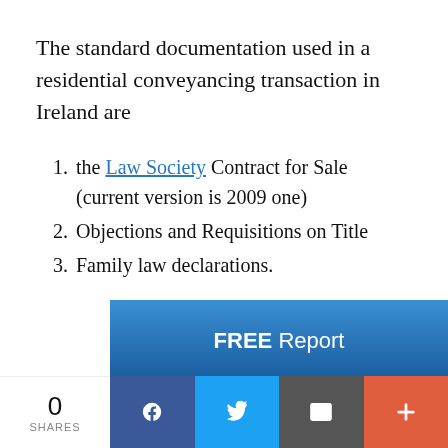The standard documentation used in a residential conveyancing transaction in Ireland are
the Law Society Contract for Sale (current version is 2009 one)
Objections and Requisitions on Title
Family law declarations.
[Figure (infographic): Blue gradient banner promoting a FREE Report titled 'Buying or Selling a Residential Property in']
0 SHARES | Facebook | Twitter | Email | More